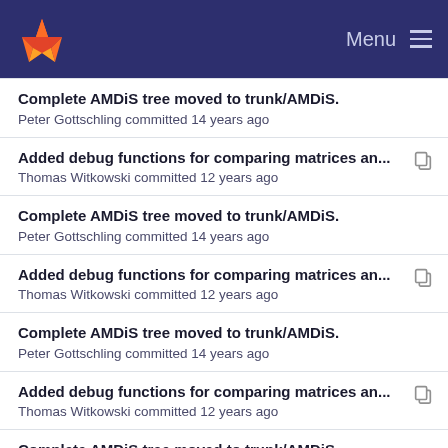Menu
Complete AMDiS tree moved to trunk/AMDiS.
Peter Gottschling committed 14 years ago
Added debug functions for comparing matrices an...
Thomas Witkowski committed 12 years ago
Complete AMDiS tree moved to trunk/AMDiS.
Peter Gottschling committed 14 years ago
Added debug functions for comparing matrices an...
Thomas Witkowski committed 12 years ago
Complete AMDiS tree moved to trunk/AMDiS.
Peter Gottschling committed 14 years ago
Added debug functions for comparing matrices an...
Thomas Witkowski committed 12 years ago
Complete AMDiS tree moved to trunk/AMDiS.
Peter Gottschling committed 14 years ago
Added debug functions for comparing matrices an...